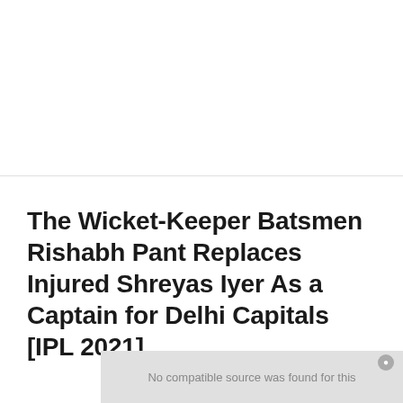The Wicket-Keeper Batsmen Rishabh Pant Replaces Injured Shreyas Iyer As a Captain for Delhi Capitals [IPL 2021]
[Figure (screenshot): Video player placeholder showing 'No compatible source was found for this' with a grey background and a close button]